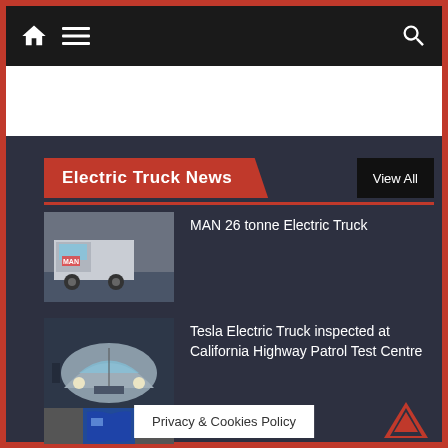Navigation bar with home icon, menu icon, and search icon
[Figure (screenshot): White advertisement banner area]
Electric Truck News
[Figure (photo): MAN 26 tonne Electric Truck - white truck front view]
MAN 26 tonne Electric Truck
[Figure (photo): Tesla Electric Truck front view, silver/white]
Tesla Electric Truck inspected at California Highway Patrol Test Centre
[Figure (photo): Blue electric truck partial view]
E... UK
Privacy & Cookies Policy